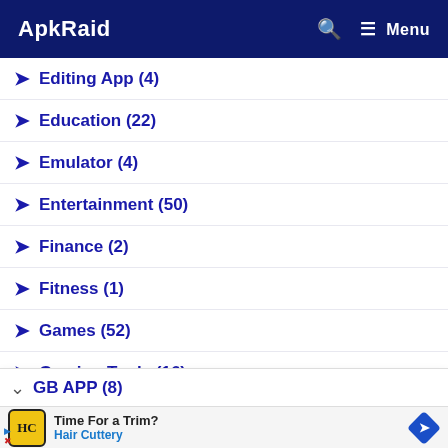ApkRaid — Search — Menu
Editing App (4)
Education (22)
Emulator (4)
Entertainment (50)
Finance (2)
Fitness (1)
Games (52)
Gaming Tools (16)
GB APP (8)
Time For a Trim? Hair Cuttery